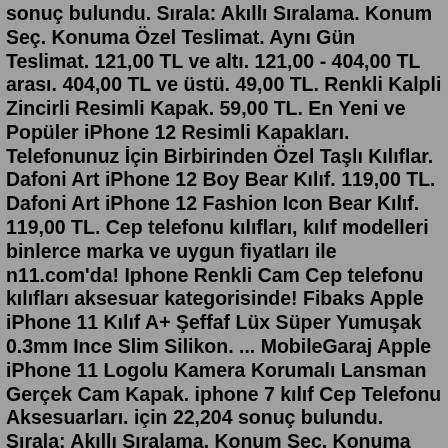sonuç bulundu. Sırala: Akıllı Sıralama. Konum Seç. Konuma Özel Teslimat. Aynı Gün Teslimat. 121,00 TL ve altı. 121,00 - 404,00 TL arası. 404,00 TL ve üstü. 49,00 TL. Renkli Kalpli Zincirli Resimli Kapak. 59,00 TL. En Yeni ve Popüler iPhone 12 Resimli Kapakları. Telefonunuz İçin Birbirinden Özel Taşlı Kılıflar. Dafoni Art iPhone 12 Boy Bear Kılıf. 119,00 TL. Dafoni Art iPhone 12 Fashion Icon Bear Kılıf. 119,00 TL. Cep telefonu kılıfları, kılıf modelleri binlerce marka ve uygun fiyatları ile n11.com'da! Iphone Renkli Cam Cep telefonu kılıfları aksesuar kategorisinde! Fibaks Apple iPhone 11 Kılıf A+ Şeffaf Lüx Süper Yumuşak 0.3mm Ince Slim Silikon. ... MobileGaraj Apple iPhone 11 Logolu Kamera Korumalı Lansman Gerçek Cam Kapak. iphone 7 kılıf Cep Telefonu Aksesuarları. için 22,204 sonuç bulundu. Sırala: Akıllı Sıralama. Konum Seç. Konuma Özel Teslimat. Aynı Gün Teslimat. 121,00 TL ve altı. 121,00 - 404,00 TL arası. 404,00 TL ve üstü. 32,00 TL. İsime Özel Çubuklu Forma Resimli Kapak. 69,00 TL. En Yeni ve Popüler iPhone 7 Resimli